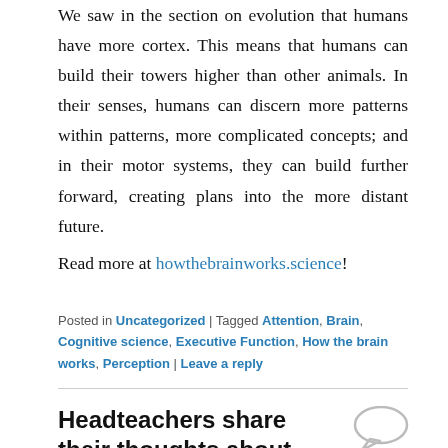We saw in the section on evolution that humans have more cortex. This means that humans can build their towers higher than other animals. In their senses, humans can discern more patterns within patterns, more complicated concepts; and in their motor systems, they can build further forward, creating plans into the more distant future.
Read more at howthebrainworks.science!
Posted in Uncategorized | Tagged Attention, Brain, Cognitive science, Executive Function, How the brain works, Perception | Leave a reply
Headteachers share their thoughts about research: